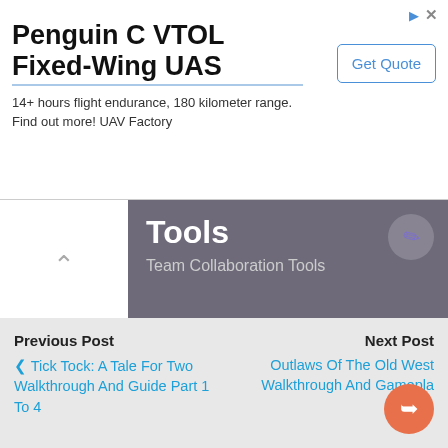[Figure (screenshot): Advertisement banner for Penguin C VTOL Fixed-Wing UAS with Get Quote button]
Tools
Team Collaboration Tools
Categories: PC Games, Walkthrough
Tags: Factory Town Cheats, Factory Town Gameplay, Factory Town Guide, Factory Town Strategy, Factory Town Walkthrough
Previous Post
< Tick Tock: A Tale For Two Walkthrough And Guide Part 1 To 4
Next Post
Outlaws Of The Old West Walkthrough And Gameplay